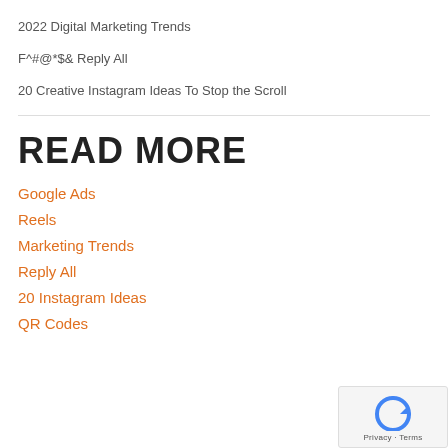2022 Digital Marketing Trends
F^#@*$& Reply All
20 Creative Instagram Ideas To Stop the Scroll
READ MORE
Google Ads
Reels
Marketing Trends
Reply All
20 Instagram Ideas
QR Codes